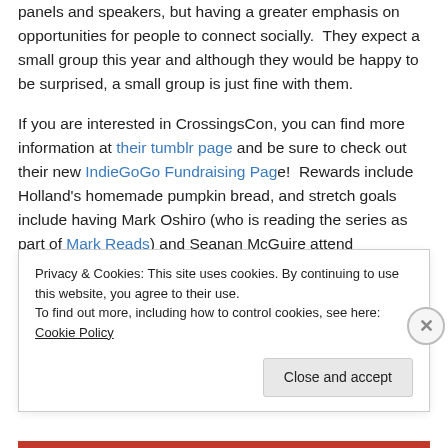panels and speakers, but having a greater emphasis on opportunities for people to connect socially.  They expect a small group this year and although they would be happy to be surprised, a small group is just fine with them.

If you are interested in CrossingsCon, you can find more information at their tumblr page and be sure to check out their new IndieGoGo Fundraising Page!  Rewards include Holland's homemade pumpkin bread, and stretch goals include having Mark Oshiro (who is reading the series as part of Mark Reads) and Seanan McGuire attend
Privacy & Cookies: This site uses cookies. By continuing to use this website, you agree to their use.
To find out more, including how to control cookies, see here: Cookie Policy